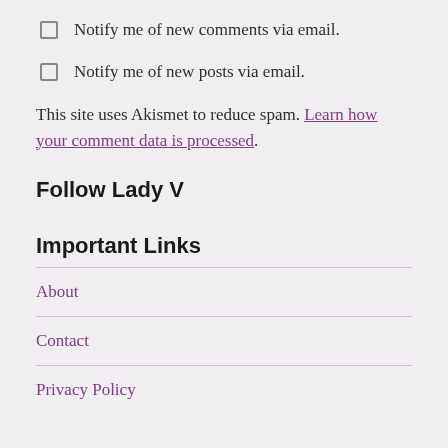Notify me of new comments via email.
Notify me of new posts via email.
This site uses Akismet to reduce spam. Learn how your comment data is processed.
Follow Lady V
Important Links
About
Contact
Privacy Policy